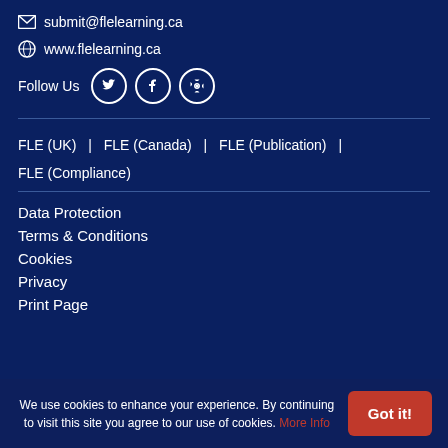submit@flelearning.ca
www.flelearning.ca
Follow Us
FLE (UK) | FLE (Canada) | FLE (Publication) | FLE (Compliance)
Data Protection
Terms & Conditions
Cookies
Privacy
Print Page
We use cookies to enhance your experience. By continuing to visit this site you agree to our use of cookies. More Info